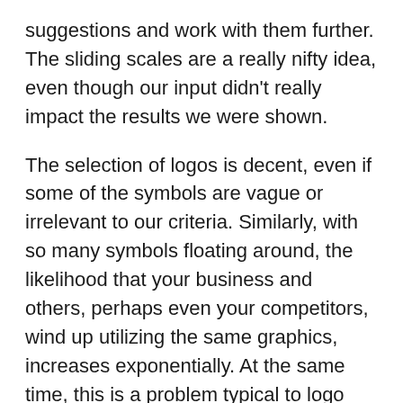suggestions and work with them further. The sliding scales are a really nifty idea, even though our input didn't really impact the results we were shown.
The selection of logos is decent, even if some of the symbols are vague or irrelevant to our criteria. Similarly, with so many symbols floating around, the likelihood that your business and others, perhaps even your competitors, wind up utilizing the same graphics, increases exponentially. At the same time, this is a problem typical to logo makers and one of the advantages of custom logo design with a professional.
In the next section, we'll take a closer look at how you can customize the logos you've selected and what sort of options Fiverr provides.